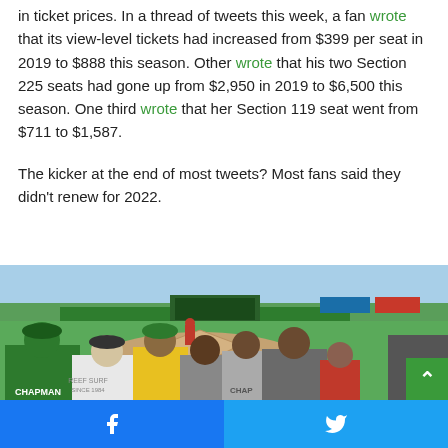in ticket prices. In a thread of tweets this week, a fan wrote that its view-level tickets had increased from $399 per seat in 2019 to $888 this season. Other wrote that his two Section 225 seats had gone up from $2,950 in 2019 to $6,500 this season. One third wrote that her Section 119 seat went from $711 to $1,587.
The kicker at the end of most tweets? Most fans said they didn't renew for 2022.
[Figure (photo): Photo of fans in green Oakland A's Chapman jerseys watching a player on a baseball field, taken from behind. The field shows a green outfield wall, scoreboard, and sky in the background.]
Facebook share | Twitter share